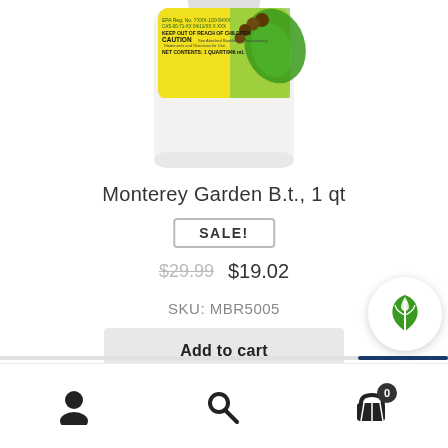[Figure (photo): Product image of Monterey Garden B.t. 1 quart bottle with yellow-green label showing caution text and NET CONTENTS: 1 QUART/946 mL, with a caterpillar and leaf graphic]
Monterey Garden B.t., 1 qt
SALE!
$29.99  $19.02
SKU: MBR5005
Add to cart